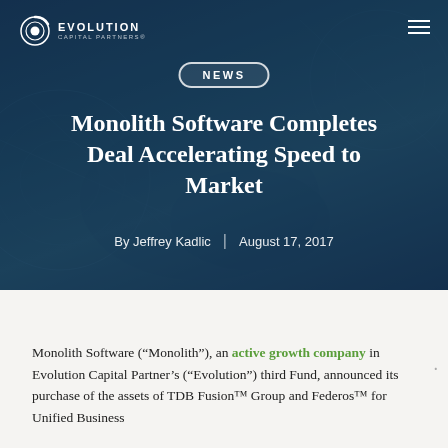[Figure (photo): Dark blue hero background with abstract tech/network overlay graphic showing hands and circular patterns]
EVOLUTION CAPITAL PARTNERS
NEWS
Monolith Software Completes Deal Accelerating Speed to Market
By Jeffrey Kadlic | August 17, 2017
Monolith Software (“Monolith”), an active growth company in Evolution Capital Partner’s (“Evolution”) third Fund, announced its purchase of the assets of TDB Fusion™ Group and Federos™ for Unified Business